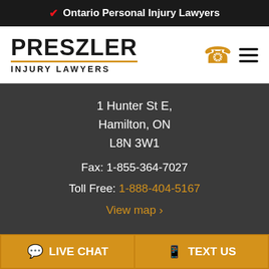🍁 Ontario Personal Injury Lawyers
[Figure (logo): Preszler Injury Lawyers logo with phone and hamburger menu icons]
1 Hunter St E, Hamilton, ON L8N 3W1
Fax: 1-855-364-7027
Toll Free: 1-888-404-5167
View map ›
Peterborough Office*
459 George St N.
LIVE CHAT   TEXT US